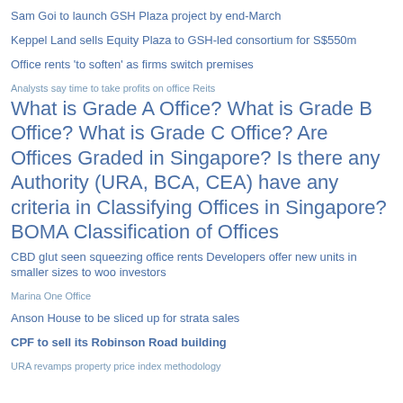Sam Goi to launch GSH Plaza project by end-March
Keppel Land sells Equity Plaza to GSH-led consortium for S$550m
Office rents 'to soften' as firms switch premises
Analysts say time to take profits on office Reits
What is Grade A Office? What is Grade B Office? What is Grade C Office? Are Offices Graded in Singapore? Is there any Authority (URA, BCA, CEA) have any criteria in Classifying Offices in Singapore? BOMA Classification of Offices
CBD glut seen squeezing office rents Developers offer new units in smaller sizes to woo investors
Marina One Office
Anson House to be sliced up for strata sales
CPF to sell its Robinson Road building
URA revamps property price index methodology